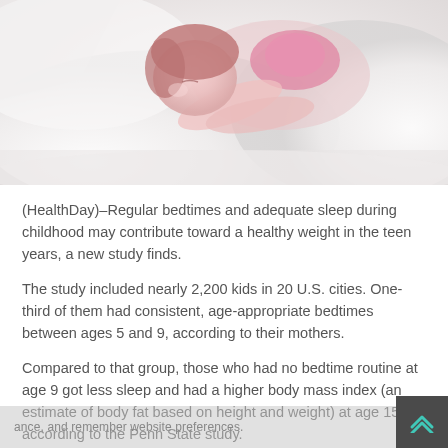[Figure (photo): A young child sleeping peacefully in bed, resting on white pillows, wearing a pink top, photographed from above at an angle.]
(HealthDay)–Regular bedtimes and adequate sleep during childhood may contribute toward a healthy weight in the teen years, a new study finds.
The study included nearly 2,200 kids in 20 U.S. cities. One-third of them had consistent, age-appropriate bedtimes between ages 5 and 9, according to their mothers.
Compared to that group, those who had no bedtime routine at age 9 got less sleep and had a higher body mass index (an estimate of body fat based on height and weight) at age 15, according to the Penn State study.
"Parenting practices in childhood affect physical health and BMI in the teenage years. Developing a proper routine in childhood is